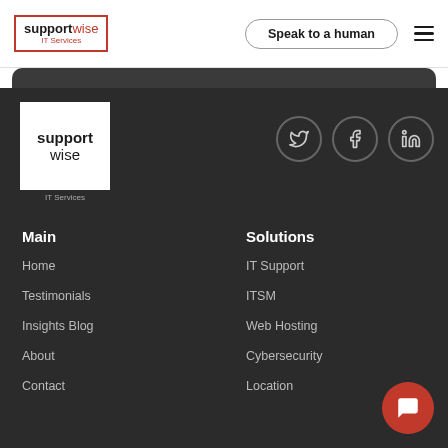[Figure (logo): Supportwise IT Services logo in header — 'support' bold black, 'wise' red, 'IT Services' red small, bordered in red]
Speak to a human
[Figure (logo): Supportwise IT Services logo in footer — 'support' bold black, 'wise' below in black, white background box with 'IT Services' caption below]
[Figure (illustration): Twitter icon in circular border]
[Figure (illustration): Facebook icon in circular border]
[Figure (illustration): LinkedIn icon in circular border]
Main
Solutions
Home
IT Support
Testimonials
ITSM
Insights Blog
Web Hosting
About
Cybersecurity
Contact
Location